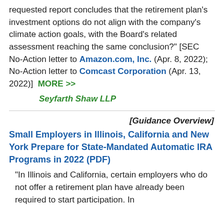requested report concludes that the retirement plan's investment options do not align with the company's climate action goals, with the Board's related assessment reaching the same conclusion?" [SEC No-Action letter to Amazon.com, Inc. (Apr. 8, 2022); No-Action letter to Comcast Corporation (Apr. 13, 2022)]  MORE >>
Seyfarth Shaw LLP
[Guidance Overview]
Small Employers in Illinois, California and New York Prepare for State-Mandated Automatic IRA Programs in 2022 (PDF)
"In Illinois and California, certain employers who do not offer a retirement plan have already been required to start participation. In